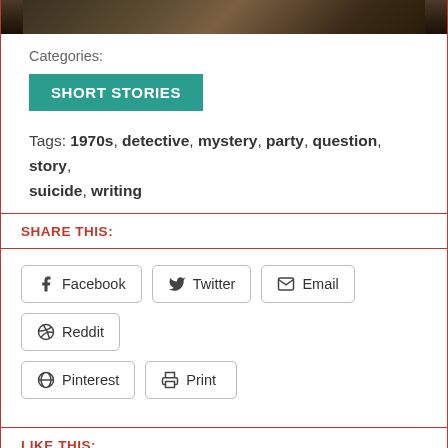[Figure (photo): Dark photo strip at top of page, showing a partial photograph with dark tones]
Categories:
SHORT STORIES
Tags: 1970s, detective, mystery, party, question, story, suicide, writing
SHARE THIS:
Facebook  Twitter  Email  Reddit  Pinterest  Print
LIKE THIS:
Loading...